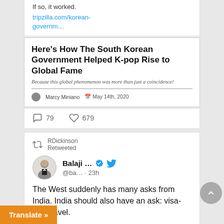If so, it worked. tripzilla.com/korean-governm…
[Figure (screenshot): Article card preview: 'Here's How The South Korean Government Helped K-pop Rise to Global Fame' by Marcy Miniano, May 14th, 2020]
79 replies, 679 likes
RDickinson Retweeted
Balaji ... @ba… · 23h
The West suddenly has many asks from India. India should also have an ask: visa-free travel.
r immigration. But for